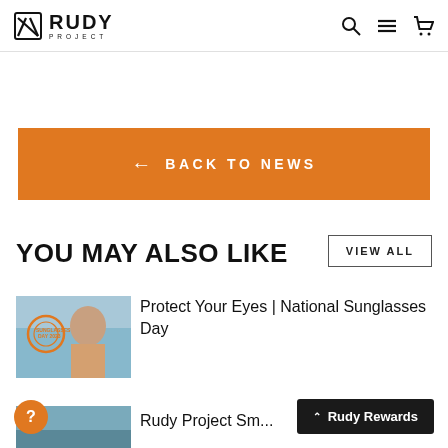Rudy Project — Navigation header with logo, search, menu, and cart icons
[Figure (screenshot): Orange 'Back to News' button with left arrow and white text]
YOU MAY ALSO LIKE
VIEW ALL
[Figure (photo): Article thumbnail: woman wearing sunglasses with National Sunglasses Day logo]
Protect Your Eyes | National Sunglasses Day
[Figure (photo): Article thumbnail: outdoor landscape/blue background]
Rudy Project Sm...
Rudy Rewards